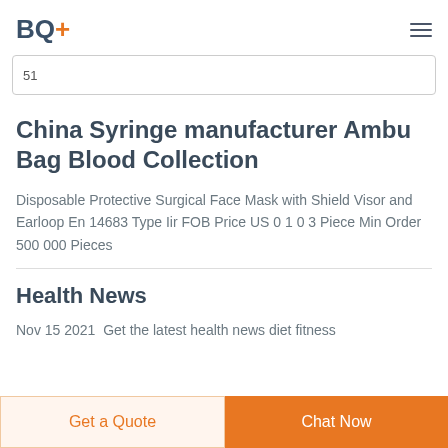BQ+
51
China Syringe manufacturer Ambu Bag Blood Collection
Disposable Protective Surgical Face Mask with Shield Visor and Earloop En 14683 Type Iir FOB Price US 0 1 0 3 Piece Min Order 500 000 Pieces
Health News
Nov 15 2021  Get the latest health news diet fitness
Get a Quote
Chat Now